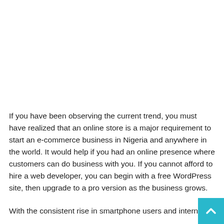If you have been observing the current trend, you must have realized that an online store is a major requirement to start an e-commerce business in Nigeria and anywhere in the world. It would help if you had an online presence where customers can do business with you. If you cannot afford to hire a web developer, you can begin with a free WordPress site, then upgrade to a pro version as the business grows.
With the consistent rise in smartphone users and internet